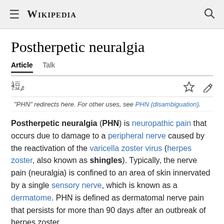Wikipedia
Postherpetic neuralgia
Article  Talk
"PHN" redirects here. For other uses, see PHN (disambiguation).
Postherpetic neuralgia (PHN) is neuropathic pain that occurs due to damage to a peripheral nerve caused by the reactivation of the varicella zoster virus (herpes zoster, also known as shingles). Typically, the nerve pain (neuralgia) is confined to an area of skin innervated by a single sensory nerve, which is known as a dermatome. PHN is defined as dermatomal nerve pain that persists for more than 90 days after an outbreak of herpes zoster